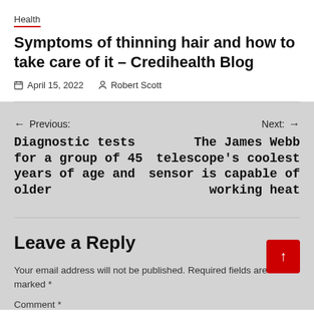Health
Symptoms of thinning hair and how to take care of it – Credihealth Blog
April 15, 2022   Robert Scott
← Previous: Diagnostic tests for a group of 45 years of age and older
Next: → The James Webb telescope's coolest sensor is capable of working heat
Leave a Reply
Your email address will not be published. Required fields are marked *
Comment *